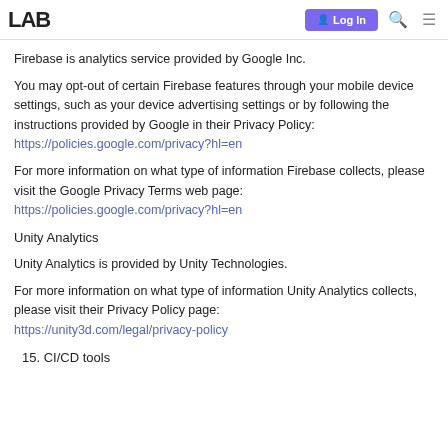LAB | Log In
Firebase is analytics service provided by Google Inc.
You may opt-out of certain Firebase features through your mobile device settings, such as your device advertising settings or by following the instructions provided by Google in their Privacy Policy: https://policies.google.com/privacy?hl=en
For more information on what type of information Firebase collects, please visit the Google Privacy Terms web page: https://policies.google.com/privacy?hl=en
Unity Analytics
Unity Analytics is provided by Unity Technologies.
For more information on what type of information Unity Analytics collects, please visit their Privacy Policy page: https://unity3d.com/legal/privacy-policy
15. CI/CD tools